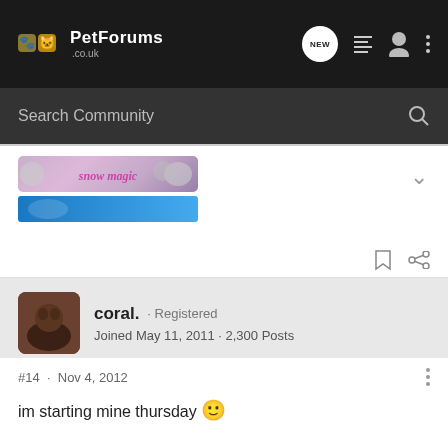PetForums .co.uk — NEW
Search Community
[Figure (illustration): snow magic banner image with cat photos, and a blue banner below it]
coral. · Registered
Joined May 11, 2011 · 2,300 Posts
#14 · Nov 4, 2012
im starting mine thursday 🙂